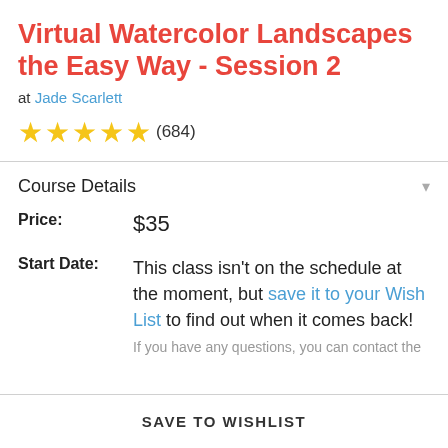Virtual Watercolor Landscapes the Easy Way - Session 2
at Jade Scarlett
★★★★★ (684)
Course Details
Price: $35
Start Date: This class isn't on the schedule at the moment, but save it to your Wish List to find out when it comes back!
SAVE TO WISHLIST